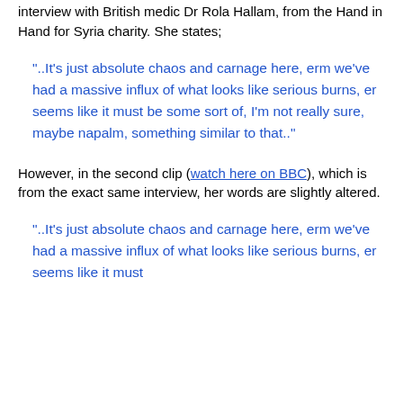interview with British medic Dr Rola Hallam, from the Hand in Hand for Syria charity. She states;
“..It’s just absolute chaos and carnage here, erm we’ve had a massive influx of what looks like serious burns, er seems like it must be some sort of, I’m not really sure, maybe napalm, something similar to that..”
However, in the second clip (watch here on BBC), which is from the exact same interview, her words are slightly altered.
“..It’s just absolute chaos and carnage here, erm we’ve had a massive influx of what looks like serious burns, er seems like it must